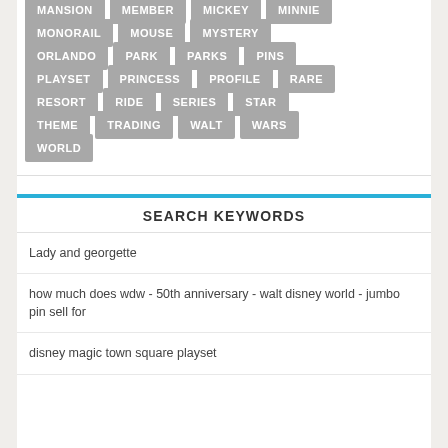MANSION
MEMBER
MICKEY
MINNIE
MONORAIL
MOUSE
MYSTERY
ORLANDO
PARK
PARKS
PINS
PLAYSET
PRINCESS
PROFILE
RARE
RESORT
RIDE
SERIES
STAR
THEME
TRADING
WALT
WARS
WORLD
SEARCH KEYWORDS
Lady and georgette
how much does wdw - 50th anniversary - walt disney world - jumbo pin sell for
disney magic town square playset